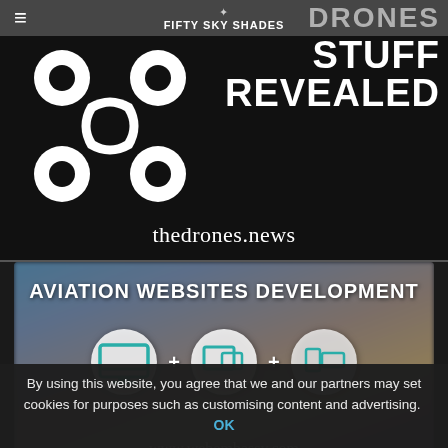≡  ✦ FIFTY SKY SHADES  DRONES
[Figure (screenshot): Drone logo on black background with text 'STUFF REVEALED' and domain 'thedrones.news']
[Figure (screenshot): Aviation Websites Development ad banner with device icons (desktop, tablet, phone) and URL www.webembassy.com on blurred sky background]
By using this website, you agree that we and our partners may set cookies for purposes such as customising content and advertising.  OK